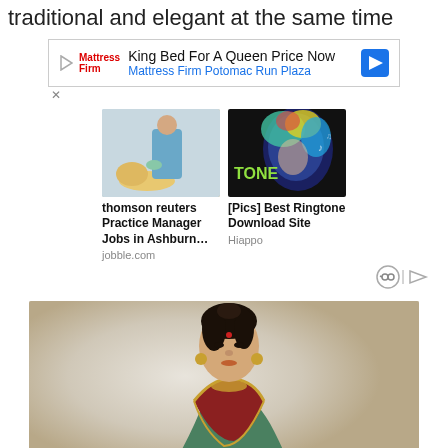traditional and elegant at the same time
[Figure (screenshot): Advertisement banner: King Bed For A Queen Price Now - Mattress Firm Potomac Run Plaza]
[Figure (photo): Two-panel ad: Left - veterinarian/doctor with golden retriever dog; Right - colorful digital art face with TONE label]
thomson reuters Practice Manager Jobs in Ashburn…
jobble.com
[Pics] Best Ringtone Download Site
Hiappo
[Figure (photo): Photo of a woman in traditional Indian attire (saree) with jewelry, bindi, hair pulled back, posing against a light background]